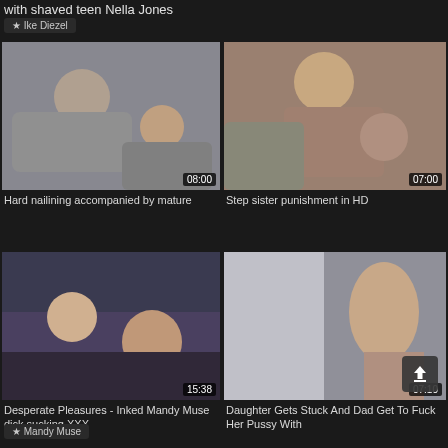with shaved teen Nella Jones
★ Ike Diezel
[Figure (screenshot): Video thumbnail showing two people, duration 08:00]
Hard nailining accompanied by mature
[Figure (screenshot): Video thumbnail showing two people, duration 07:00]
Step sister punishment in HD
[Figure (screenshot): Video thumbnail showing two people on couch, duration 15:38]
Desperate Pleasures - Inked Mandy Muse dick sucking XXX
[Figure (screenshot): Video thumbnail close-up, duration 07:10]
Daughter Gets Stuck And Dad Get To Fuck Her Pussy With
★ Mandy Muse